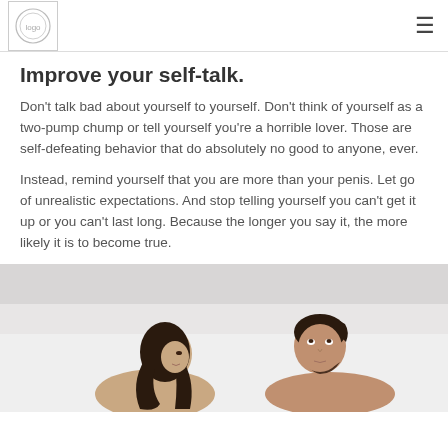[Logo] [Menu icon]
Improve your self-talk.
Don't talk bad about yourself to yourself. Don't think of yourself as a two-pump chump or tell yourself you're a horrible lover. Those are self-defeating behavior that do absolutely no good to anyone, ever.
Instead, remind yourself that you are more than your penis. Let go of unrealistic expectations. And stop telling yourself you can't get it up or you can't last long. Because the longer you say it, the more likely it is to become true.
[Figure (photo): A man and woman sitting apart from each other in bed, looking away from each other, appearing distant.]